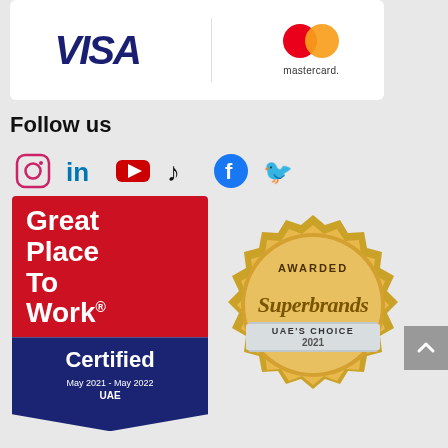[Figure (logo): Payment logos: Visa and Mastercard side by side in a white rounded box]
Follow us
[Figure (infographic): Social media icons: Instagram, LinkedIn, YouTube, TikTok, Facebook, Twitter]
[Figure (logo): Great Place To Work Certified badge - May 2021 - May 2022, UAE]
[Figure (logo): Awarded Superbrands UAE's Choice 2021 gold seal badge]